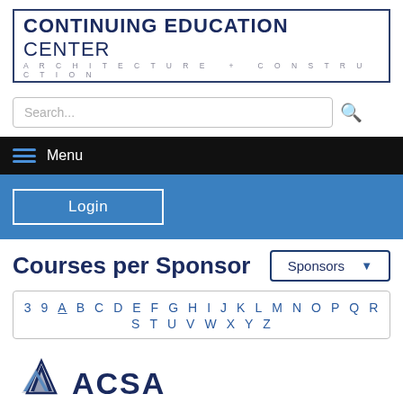[Figure (logo): Continuing Education Center - Architecture + Construction logo with border box]
[Figure (screenshot): Search input field with search icon]
Menu
Login
Courses per Sponsor
Sponsors
3 9 A B C D E F G H I J K L M N O P Q R S T U V W X Y Z
[Figure (logo): ACSA logo with mountain/arrow icon and ACSA text]